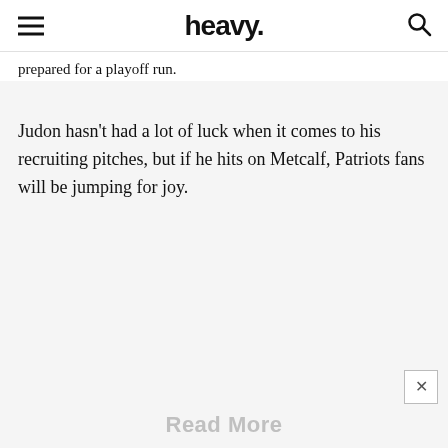heavy.
prepared for a playoff run.
Judon hasn't had a lot of luck when it comes to his recruiting pitches, but if he hits on Metcalf, Patriots fans will be jumping for joy.
Read More